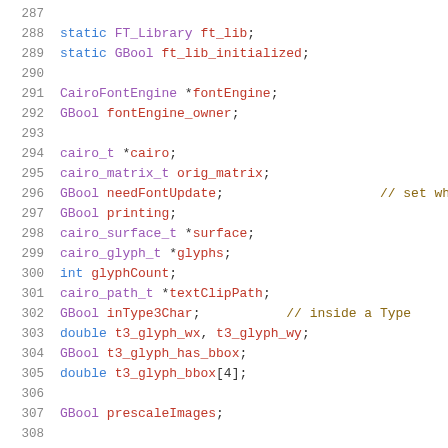287
288  static FT_Library ft_lib;
289  static GBool ft_lib_initialized;
290
291  CairoFontEngine *fontEngine;
292  GBool fontEngine_owner;
293
294  cairo_t *cairo;
295  cairo_matrix_t orig_matrix;
296  GBool needFontUpdate;   // set wh
297  GBool printing;
298  cairo_surface_t *surface;
299  cairo_glyph_t *glyphs;
300  int glyphCount;
301  cairo_path_t *textClipPath;
302  GBool inType3Char;   // inside a Type
303  double t3_glyph_wx, t3_glyph_wy;
304  GBool t3_glyph_has_bbox;
305  double t3_glyph_bbox[4];
306
307  GBool prescaleImages;
308